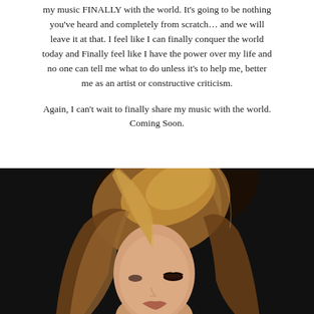my music FINALLY with the world. It's going to be nothing you've heard and completely from scratch… and we will leave it at that. I feel like I can finally conquer the world today and Finally feel like I have the power over my life and no one can tell me what to do unless it's to help me, better me as an artist or constructive criticism.

Again, I can't wait to finally share my music with the world. Coming Soon.
[Figure (photo): A young blonde woman with long hair covering part of her face, photographed against a dark/black background. She appears to be looking slightly upward with dramatic makeup.]